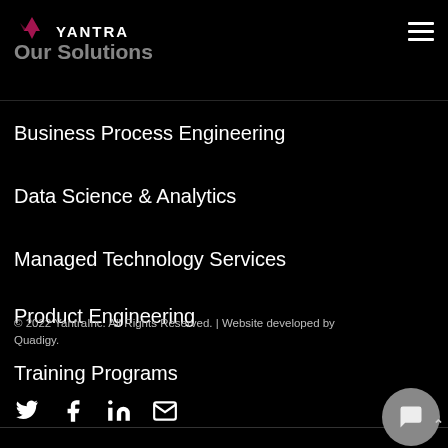YANTRA | Our Solutions
Business Process Engineering
Data Science & Analytics
Managed Technology Services
Product Engineering
Training Programs
© 2022 YantraInc. All Rights Reserved. | Website developed by Quadigy.